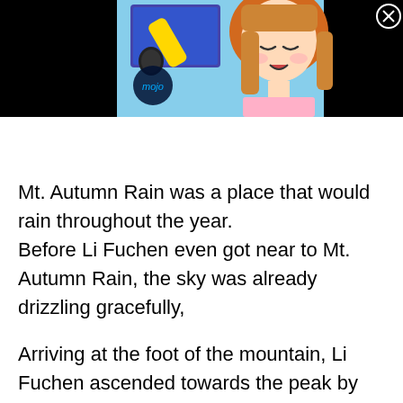[Figure (screenshot): Screenshot of an anime character (girl with orange/brown hair singing into a microphone) with a 'mojo' watermark logo in blue on the left side. The image is set against a black background. A close/X button is visible in the top-right corner.]
Mt. Autumn Rain was a place that would rain throughout the year.
Before Li Fuchen even got near to Mt. Autumn Rain, the sky was already drizzling gracefully,
Arriving at the foot of the mountain, Li Fuchen ascended towards the peak by climbing up a